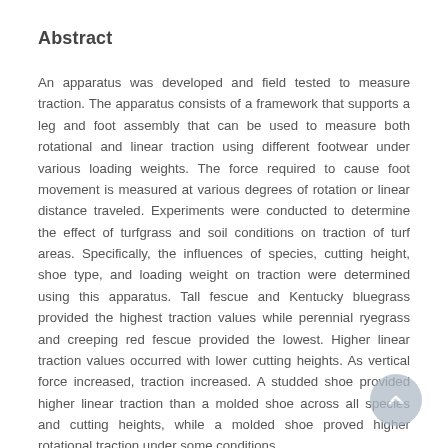Abstract
An apparatus was developed and field tested to measure traction. The apparatus consists of a framework that supports a leg and foot assembly that can be used to measure both rotational and linear traction using different footwear under various loading weights. The force required to cause foot movement is measured at various degrees of rotation or linear distance traveled. Experiments were conducted to determine the effect of turfgrass and soil conditions on traction of turf areas. Specifically, the influences of species, cutting height, shoe type, and loading weight on traction were determined using this apparatus. Tall fescue and Kentucky bluegrass provided the highest traction values while perennial ryegrass and creeping red fescue provided the lowest. Higher linear traction values occurred with lower cutting heights. As vertical force increased, traction increased. A studded shoe provided higher linear traction than a molded shoe across all species and cutting heights, while a molded shoe proved higher rotational traction under some conditions.